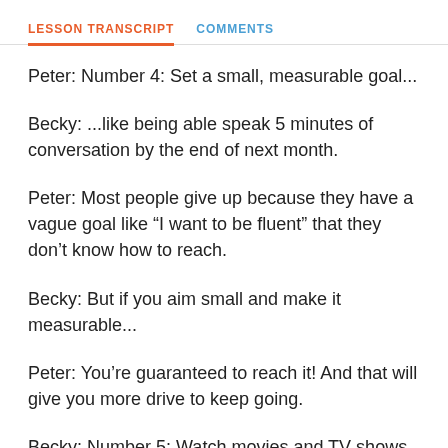LESSON TRANSCRIPT   COMMENTS
Peter: Number 4: Set a small, measurable goal...
Becky: ...like being able speak 5 minutes of conversation by the end of next month.
Peter: Most people give up because they have a vague goal like “I want to be fluent” that they don’t know how to reach.
Becky: But if you aim small and make it measurable...
Peter: You’re guaranteed to reach it! And that will give you more drive to keep going.
Becky: Number 5: Watch movies and TV shows in your